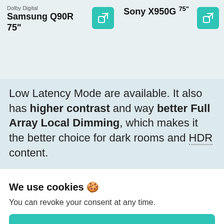Dolby Digital Samsung Q90R 75" | Sony X950G 75"
Low Latency Mode are available. It also has higher contrast and way better Full Array Local Dimming, which makes it the better choice for dark rooms and HDR content.
We use cookies 🍪
You can revoke your consent at any time.
Accept
Settings